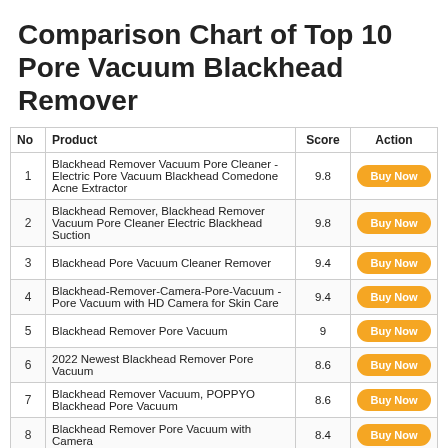Comparison Chart of Top 10 Pore Vacuum Blackhead Remover
| No | Product | Score | Action |
| --- | --- | --- | --- |
| 1 | Blackhead Remover Vacuum Pore Cleaner - Electric Pore Vacuum Blackhead Comedone Acne Extractor | 9.8 | Buy Now |
| 2 | Blackhead Remover, Blackhead Remover Vacuum Pore Cleaner Electric Blackhead Suction | 9.8 | Buy Now |
| 3 | Blackhead Pore Vacuum Cleaner Remover | 9.4 | Buy Now |
| 4 | Blackhead-Remover-Camera-Pore-Vacuum - Pore Vacuum with HD Camera for Skin Care | 9.4 | Buy Now |
| 5 | Blackhead Remover Pore Vacuum | 9 | Buy Now |
| 6 | 2022 Newest Blackhead Remover Pore Vacuum | 8.6 | Buy Now |
| 7 | Blackhead Remover Vacuum, POPPYO Blackhead Pore Vacuum | 8.6 | Buy Now |
| 8 | Blackhead Remover Pore Vacuum with Camera | 8.4 | Buy Now |